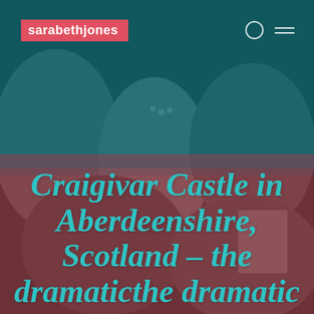[Figure (photo): A crowd of people seated in an audience, black and white photo with teal overlay on top half and pink/red overlay on bottom half. A woman with a flower crown and glasses is visible in the center.]
sarabethjones
Craigivar Castle in Aberdeenshire, Scotland – the dramaticthe dramatic